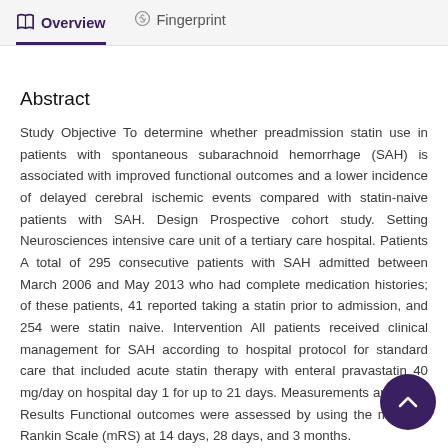Overview   Fingerprint
Abstract
Study Objective To determine whether preadmission statin use in patients with spontaneous subarachnoid hemorrhage (SAH) is associated with improved functional outcomes and a lower incidence of delayed cerebral ischemic events compared with statin-naive patients with SAH. Design Prospective cohort study. Setting Neurosciences intensive care unit of a tertiary care hospital. Patients A total of 295 consecutive patients with SAH admitted between March 2006 and May 2013 who had complete medication histories; of these patients, 41 reported taking a statin prior to admission, and 254 were statin naive. Intervention All patients received clinical management for SAH according to hospital protocol for standard care that included acute statin therapy with enteral pravastatin 40 mg/day on hospital day 1 for up to 21 days. Measurements and Main Results Functional outcomes were assessed by using the modified Rankin Scale (mRS) at 14 days, 28 days, and 3 months.